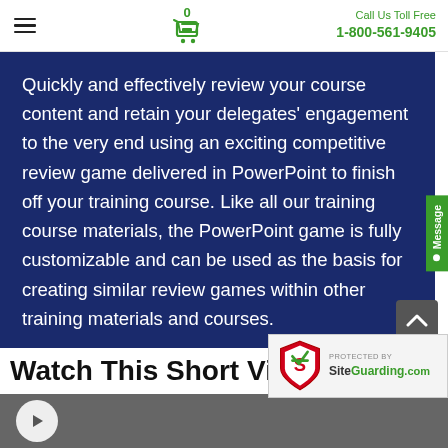Call Us Toll Free 1-800-561-9405
Quickly and effectively review your course content and retain your delegates’ engagement to the very end using an exciting competitive review game delivered in PowerPoint to finish off your training course. Like all our training course materials, the PowerPoint game is fully customizable and can be used as the basis for creating similar review games within other training materials and courses.
Watch This Short Vi...
[Figure (screenshot): Video thumbnail showing partial view of a person, dark/grey background]